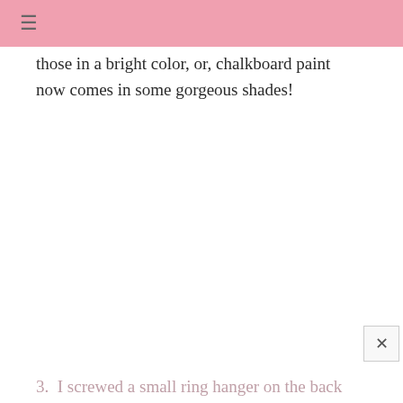≡
those in a bright color, or, chalkboard paint now comes in some gorgeous shades!
3.  I screwed a small ring hanger on the back